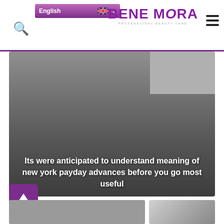English | BENE MORA PROFESSIONAL BEAUTY CARE
[Figure (photo): Large gray hero banner image with white bold text overlay and smaller thumbnail in top right corner]
Its were anticipated to understand meaning of new york payday advances before you go most useful
[Figure (photo): Bottom left gray thumbnail image]
[Figure (photo): Bottom right gray thumbnail image with gradient]